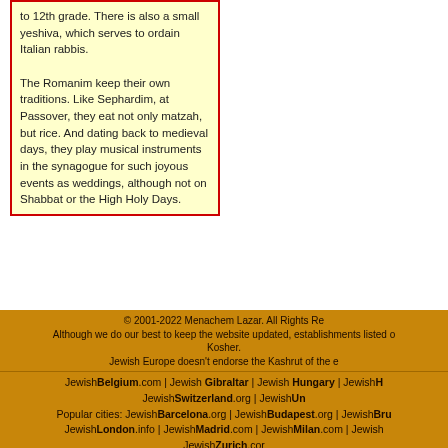to 12th grade. There is also a small yeshiva, which serves to ordain Italian rabbis.

The Romanim keep their own traditions. Like Sephardim, at Passover, they eat not only matzah, but rice. And dating back to medieval days, they play musical instruments in the synagogue for such joyous events as weddings, although not on Shabbat or the High Holy Days.
© 2001-2022 Menachem Lazar. All Rights Re... Although we do our best to keep the website updated, establishments listed ... Kosher. Jewish Europe doesn't endorse the Kashrut of the e...
JewishBelgium.com | Jewish Gibraltar | Jewish Hungary | JewishH... JewishSwitzerland.org | JewishUn... Popular cities: JewishBarcelona.org | JewishBudapest.org | JewishBru... JewishLondon.info | JewishMadrid.com | JewishMilan.com | Jewish... JewishZurich.cor...
Other Countries: JewishArgentina.net | JewishAustria.com | JewishF... JewishIsrael.info | JewishJapan.net | JewishNetherlands.com | Jewish... Other Cities: JewishParis.org | JewishPrague.org | Jew...